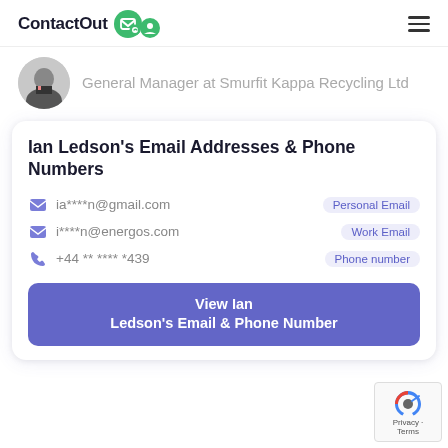ContactOut
General Manager at Smurfit Kappa Recycling Ltd
Ian Ledson's Email Addresses & Phone Numbers
ia****n@gmail.com  Personal Email
i****n@energos.com  Work Email
+44 ** **** *439  Phone number
View Ian Ledson's Email & Phone Number